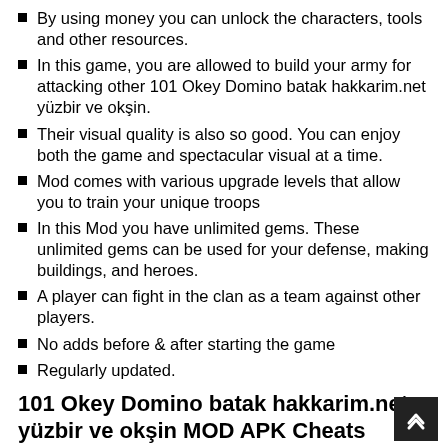By using money you can unlock the characters, tools and other resources.
In this game, you are allowed to build your army for attacking other 101 Okey Domino batak hakkarim.net yüzbir ve okşin.
Their visual quality is also so good. You can enjoy both the game and spectacular visual at a time.
Mod comes with various upgrade levels that allow you to train your unique troops
In this Mod you have unlimited gems. These unlimited gems can be used for your defense, making buildings, and heroes.
A player can fight in the clan as a team against other players.
No adds before & after starting the game
Regularly updated.
101 Okey Domino batak hakkarim.net yüzbir ve okşin MOD APK Cheats
FAQs
How to download 101 Okey Domino batak hakkarim.net yüzbir ve okşin Mod APK?